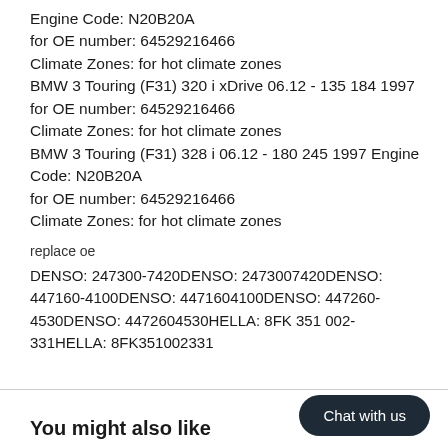Engine Code: N20B20A
for OE number: 64529216466
Climate Zones: for hot climate zones
BMW 3 Touring (F31) 320 i xDrive 06.12 - 135 184 1997 for OE number: 64529216466
Climate Zones: for hot climate zones
BMW 3 Touring (F31) 328 i 06.12 - 180 245 1997 Engine Code: N20B20A
for OE number: 64529216466
Climate Zones: for hot climate zones
replace oe
DENSO: 247300-7420DENSO: 2473007420DENSO: 447160-4100DENSO: 4471604100DENSO: 447260-4530DENSO: 4472604530HELLA: 8FK 351 002-331HELLA: 8FK351002331
Chat with us
You might also like